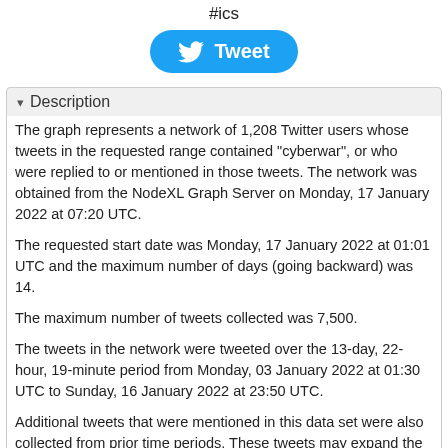#ics
[Figure (other): Twitter Tweet button with bird logo]
Description
The graph represents a network of 1,208 Twitter users whose tweets in the requested range contained "cyberwar", or who were replied to or mentioned in those tweets. The network was obtained from the NodeXL Graph Server on Monday, 17 January 2022 at 07:20 UTC.
The requested start date was Monday, 17 January 2022 at 01:01 UTC and the maximum number of days (going backward) was 14.
The maximum number of tweets collected was 7,500.
The tweets in the network were tweeted over the 13-day, 22-hour, 19-minute period from Monday, 03 January 2022 at 01:30 UTC to Sunday, 16 January 2022 at 23:50 UTC.
Additional tweets that were mentioned in this data set were also collected from prior time periods. These tweets may expand the complete time period of the data.
There is an edge for each "replies-to" relationship in a tweet